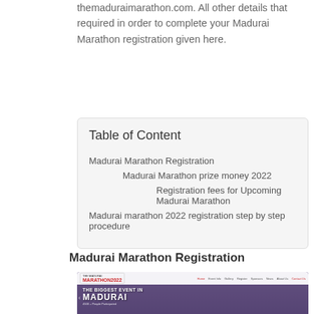themaduraimarathon.com. All other details that required in order to complete your Madurai Marathon registration given here.
Table of Content
Madurai Marathon Registration
Madurai Marathon prize money 2022
Registration fees for Upcoming Madurai Marathon
Madurai marathon 2022 registration step by step procedure
Madurai Marathon Registration
[Figure (screenshot): Screenshot of The Madurai Marathon 2022 website homepage showing a crowd of marathon participants with text 'THE BIGGEST EVENT IN MADURAI' overlaid on a purple-tinted image.]